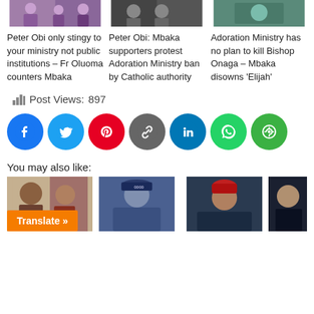[Figure (photo): Three news article thumbnails showing religious/political figures including Fr Oluoma, Peter Obi/Mbaka, and Adoration Ministry related images]
Peter Obi only stingy to your ministry not public institutions – Fr Oluoma counters Mbaka
Peter Obi: Mbaka supporters protest Adoration Ministry ban by Catholic authority
Adoration Ministry has no plan to kill Bishop Onaga – Mbaka disowns 'Elijah'
Post Views:  897
[Figure (infographic): Social media sharing buttons row: Facebook (blue), Twitter (cyan), Pinterest (red), Link/Copy (gray), LinkedIn (blue), WhatsApp (green), More (green)]
You may also like:
[Figure (photo): Four news article thumbnail images showing political figures including Tinubu and Peter Obi]
Translate »